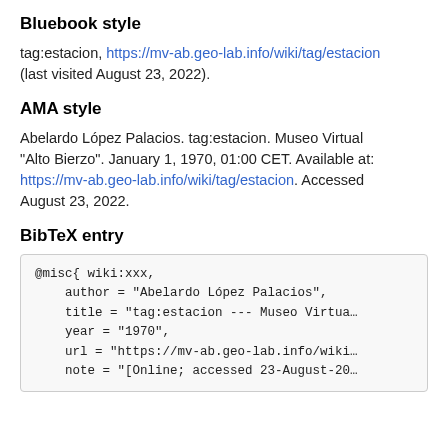Bluebook style
tag:estacion, https://mv-ab.geo-lab.info/wiki/tag/estacion (last visited August 23, 2022).
AMA style
Abelardo López Palacios. tag:estacion. Museo Virtual "Alto Bierzo". January 1, 1970, 01:00 CET. Available at: https://mv-ab.geo-lab.info/wiki/tag/estacion. Accessed August 23, 2022.
BibTeX entry
@misc{ wiki:xxx,
    author = "Abelardo López Palacios",
    title = "tag:estacion --- Museo Virtua.
    year = "1970",
    url = "https://mv-ab.geo-lab.info/wiki.
    note = "[Online; accessed 23-August-20: